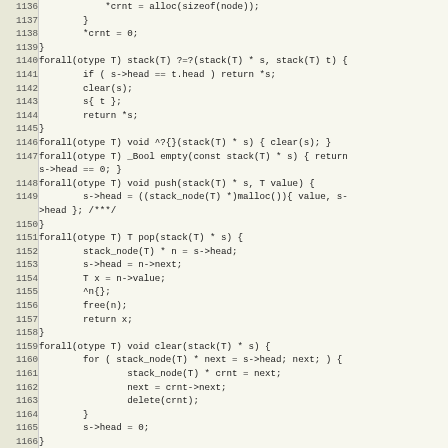[Figure (screenshot): Source code listing in monospace font with line numbers 1136-1166, showing C-like code for stack data structure operations including forall templates, push, pop, clear functions.]